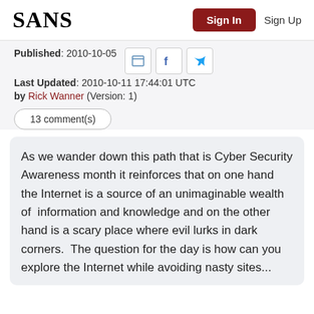SANS | Sign In | Sign Up
Published: 2010-10-05
Last Updated: 2010-10-11 17:44:01 UTC
by Rick Wanner (Version: 1)
13 comment(s)
As we wander down this path that is Cyber Security Awareness month it reinforces that on one hand the Internet is a source of an unimaginable wealth of information and knowledge and on the other hand is a scary place where evil lurks in dark corners.  The question for the day is how can you explore the Internet while avoiding nasty sites...